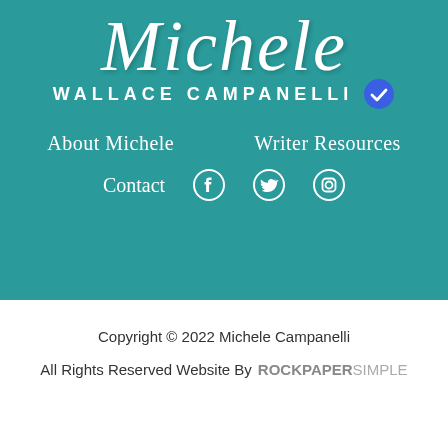Michele WALLACE CAMPANELLI
About Michele
Writer Resources
Contact
Copyright © 2022 Michele Campanelli
All Rights Reserved Website By ROCKPAPERSIMPLE